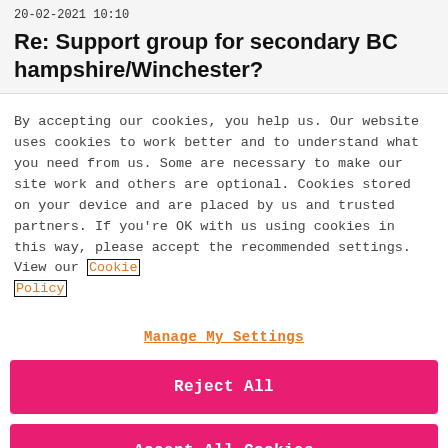20-02-2021 10:10
Re: Support group for secondary BC hampshire/Winchester?
By accepting our cookies, you help us. Our website uses cookies to work better and to understand what you need from us. Some are necessary to make our site work and others are optional. Cookies stored on your device and are placed by us and trusted partners. If you're OK with us using cookies in this way, please accept the recommended settings. View our Cookie Policy
Manage My Settings
Reject All
Accept All Cookies